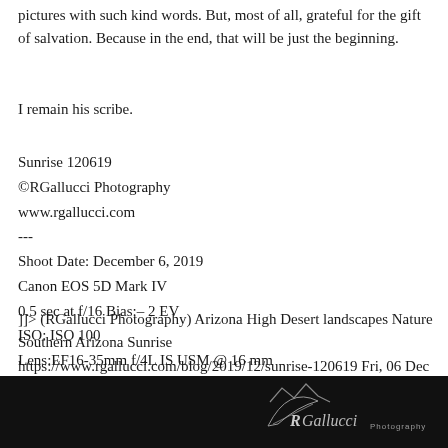pictures with such kind words. But, most of all, grateful for the gift of salvation. Because in the end, that will be just the beginning.
I remain his scribe.
Sunrise 120619
©RGallucci Photography
www.rgallucci.com
---
Shoot Date: December 6, 2019
Canon EOS 5D Mark IV
0.5 sec at f/16 Bias:– 2 EV
ISO: ISO 100
Lens:EF16-35mm f/4L IS USM @ 16 mm
]]> (RGallucci Photography) Arizona High Desert landscapes Nature Southern Arizona Sunrise https://www.rgallucci.com/blog/2019/12/sunrise-120619 Fri, 06 Dec 2019 22:21:52 GMT https://www.rgallucci.com/blog/2019/12/december-conjunction
[Figure (logo): RGallucci Photography logo on dark background at bottom of page]